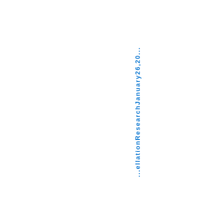...ellationResearchJanuary26,20...